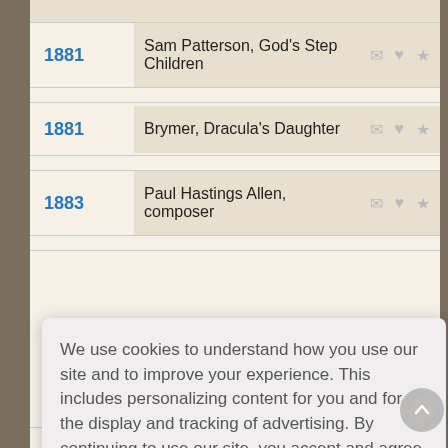1881 — Sam Patterson, God's Step Children
1881 — Brymer, Dracula's Daughter
1883 — Paul Hastings Allen, composer
We use cookies to understand how you use our site and to improve your experience. This includes personalizing content for you and for the display and tracking of advertising. By continuing to use our site, you accept and agree to our use of cookies. Privacy Policy
Got it!